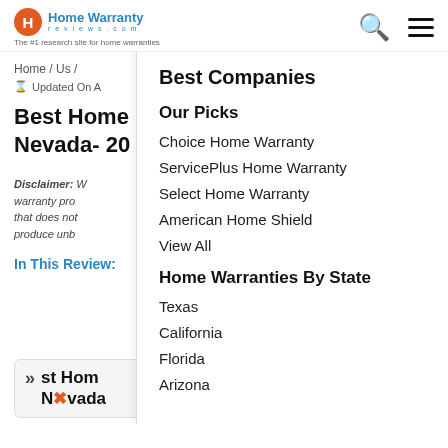Home Warranty Reviews.com – The #1 research site for home warranties
Home / Us /
Updated On
Best Home Warranty in Nevada- 20
Disclaimer: W... warranty pro... that does not... produce unb...
In This Review:
st Hom Nevada
Best Companies
Our Picks
Choice Home Warranty
ServicePlus Home Warranty
Select Home Warranty
American Home Shield
View All
Home Warranties By State
Texas
California
Florida
Arizona